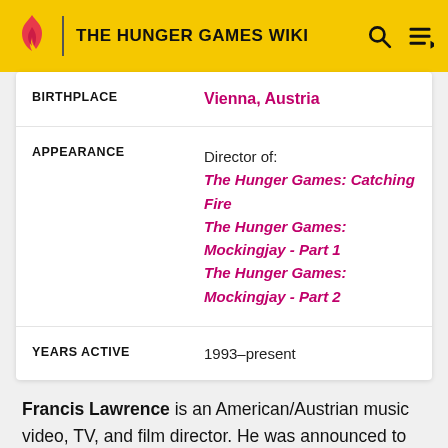THE HUNGER GAMES WIKI
| Field | Value |
| --- | --- |
| BIRTHPLACE | Vienna, Austria |
| APPEARANCE | Director of:
The Hunger Games: Catching Fire
The Hunger Games: Mockingjay - Part 1
The Hunger Games: Mockingjay - Part 2 |
| YEARS ACTIVE | 1993–present |
Francis Lawrence is an American/Austrian music video, TV, and film director. He was announced to be the new director of The Hunger Games: Catching Fire after Gary Ross, director of The Hunger Games film, bowed out of